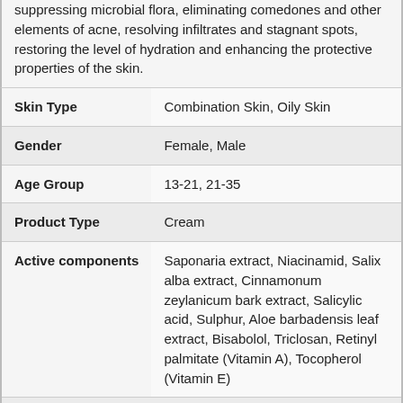| Field | Value |
| --- | --- |
|  | suppressing microbial flora, eliminating comedones and other elements of acne, resolving infiltrates and stagnant spots, restoring the level of hydration and enhancing the protective properties of the skin. |
| Skin Type | Combination Skin, Oily Skin |
| Gender | Female, Male |
| Age Group | 13-21, 21-35 |
| Product Type | Cream |
| Active components | Saponaria extract, Niacinamid, Salix alba extract, Cinnamonum zeylanicum bark extract, Salicylic acid, Sulphur, Aloe barbadensis leaf extract, Bisabolol, Triclosan, Retinyl palmitate (Vitamin A), Tocopherol (Vitamin E) |
| Ingredients | Water, SD Alcohol 40 B, Cetearyl Alcohol & PEG-20 Stearate, Salix Alba (Willow) Bark Extract, Ethylhexyl Methoxycinnamate, Propanediol, Polyacrylamide & C13-14 Isoparaffin & Laureth-7, Isononyl Isononanoate, Hydrogenated Polydecane, Aloe... |